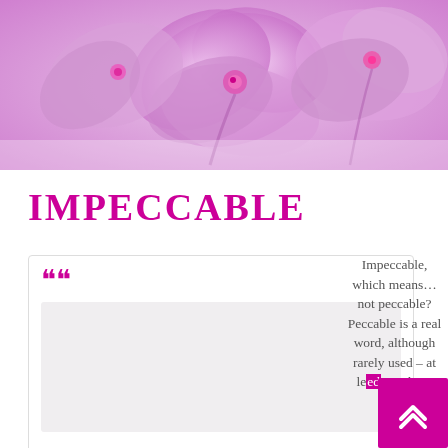[Figure (photo): Pink and purple orchid flowers on a light lavender background, close-up banner image at top of page]
IMPECCABLE
Impeccable, which means…not peccable? Peccable is a real word, although rarely used – at le... when
[Figure (other): Open quote marks and a light gray box placeholder inside a white bordered card]
[Figure (other): Magenta scroll-to-top button with upward chevron arrows in bottom right corner]